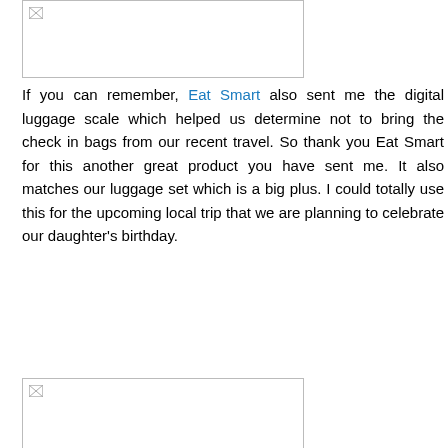[Figure (photo): Top image placeholder with broken image icon]
If you can remember, Eat Smart also sent me the digital luggage scale which helped us determine not to bring the check in bags from our recent travel. So thank you Eat Smart for this another great product you have sent me. It also matches our luggage set which is a big plus. I could totally use this for the upcoming local trip that we are planning to celebrate our daughter's birthday.
[Figure (photo): Bottom image placeholder with broken image icon]
This TravelWise 3-Piece Packing Cube Set is great to organize your traveling stuff. This is a great one to have especially for those frequent travelers who love to pack their